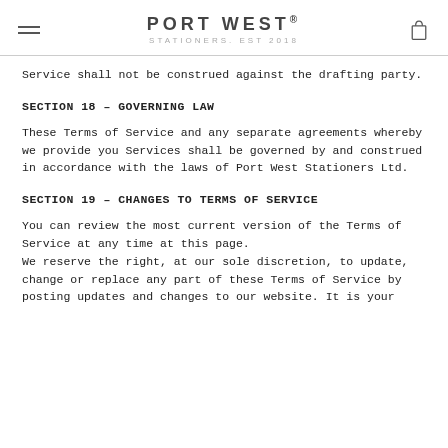PORT WEST® STATIONERS. EST 2018
Service shall not be construed against the drafting party.
SECTION 18 – GOVERNING LAW
These Terms of Service and any separate agreements whereby we provide you Services shall be governed by and construed in accordance with the laws of Port West Stationers Ltd.
SECTION 19 – CHANGES TO TERMS OF SERVICE
You can review the most current version of the Terms of Service at any time at this page.
We reserve the right, at our sole discretion, to update, change or replace any part of these Terms of Service by posting updates and changes to our website. It is your responsibility to check our website periodically for